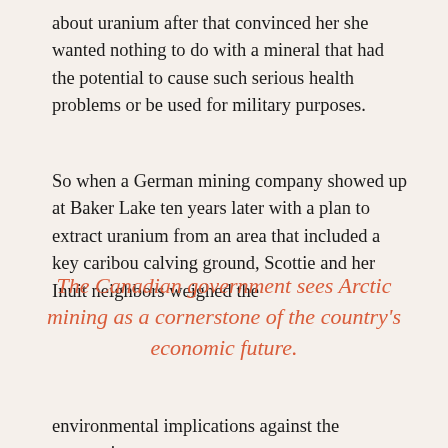about uranium after that convinced her she wanted nothing to do with a mineral that had the potential to cause such serious health problems or be used for military purposes.
So when a German mining company showed up at Baker Lake ten years later with a plan to extract uranium from an area that included a key caribou calving ground, Scottie and her Inuit neighbors weighed the
The Canadian government sees Arctic mining as a cornerstone of the country's economic future.
environmental implications against the economic